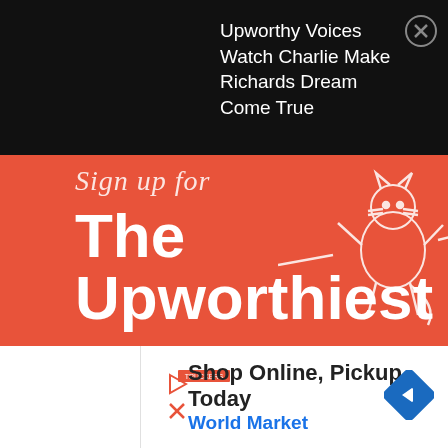Upworthy Voices Watch Charlie Make Richards Dream Come True
[Figure (screenshot): Red promotional banner for 'The Upworthiest' newsletter signup with white illustrated character on right side. Contains 'Sign up for The Upworthiest' heading, tagline 'Our top stories of the day delivered straight to your inbox.', and a signup form with 'SIGN ME UP' input and 'YES PLEASE' button.]
[Figure (infographic): Advertisement banner: Shop Online, Pickup Today - World Market, with blue diamond arrow logo and small play/close icons on left.]